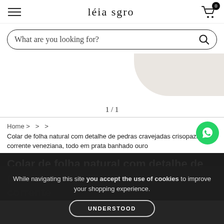léia sgro
What are you looking for?
[Figure (photo): Partial product image showing a jewelry piece on a light beige/cream background, top-right corner]
1 / 1
Home > > >
Colar de folha natural com detalhe de pedras cravejadas crisopazio, corrente veneziana, todo em prata banhado ouro
Colar de folha natural com detalhe de pedras cravejadas em crisopazio, corrente
While navigating this site you accept the use of cookies to improve your shopping experience.
UNDERSTOOD